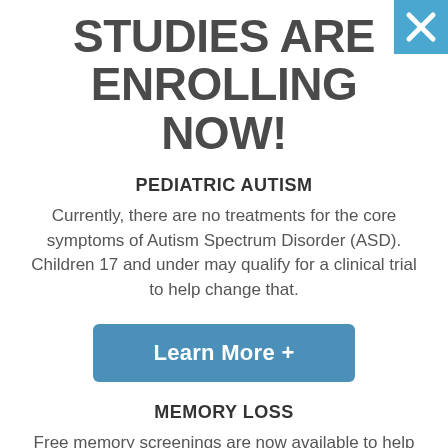STUDIES ARE ENROLLING NOW!
PEDIATRIC AUTISM
Currently, there are no treatments for the core symptoms of Autism Spectrum Disorder (ASD). Children 17 and under may qualify for a clinical trial to help change that.
[Figure (other): Blue rounded button labeled 'Learn More +']
MEMORY LOSS
Free memory screenings are now available to help detect symptoms. Those who receive a free